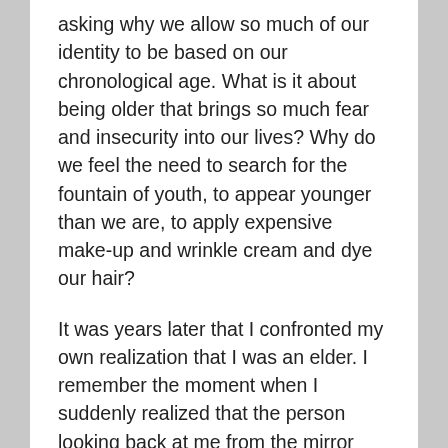asking why we allow so much of our identity to be based on our chronological age. What is it about being older that brings so much fear and insecurity into our lives? Why do we feel the need to search for the fountain of youth, to appear younger than we are, to apply expensive make-up and wrinkle cream and dye our hair?
It was years later that I confronted my own realization that I was an elder. I remember the moment when I suddenly realized that the person looking back at me from the mirror had wrinkles and silvering hair. “Oh my god, I look like my mother!” It’s not that I mind looking old, it’s just that I have learned all too well how elders are treated. I am reminded of a poem I used during this conference and others to try to touch people’s hearts, to encourage them to look beyond external